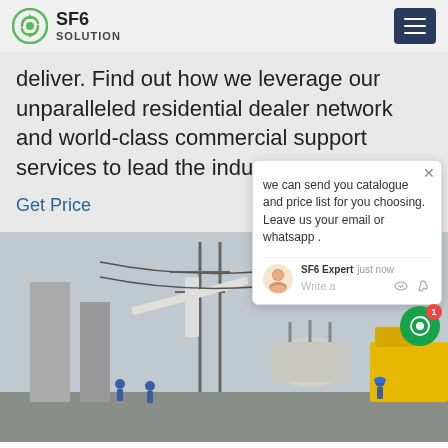SF6 SOLUTION
deliver. Find out how we leverage our unparalleled residential dealer network and world-class commercial support services to lead the industry.
Get Price
we can send you catalogue and price list for you choosing.
Leave us your email or whatsapp .
SF6 Expert   just now
Write a
[Figure (photo): Workers in blue uniforms at a high-voltage electrical substation with power line towers and equipment, with a yellow crane vehicle visible]